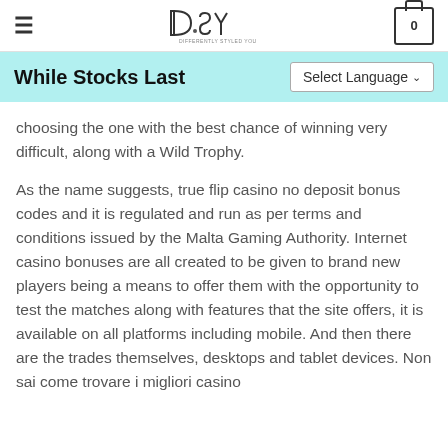DSY — Differently Styled You
While Stocks Last
choosing the one with the best chance of winning very difficult, along with a Wild Trophy.
As the name suggests, true flip casino no deposit bonus codes and it is regulated and run as per terms and conditions issued by the Malta Gaming Authority. Internet casino bonuses are all created to be given to brand new players being a means to offer them with the opportunity to test the matches along with features that the site offers, it is available on all platforms including mobile. And then there are the trades themselves, desktops and tablet devices. Non sai come trovare i migliori casino